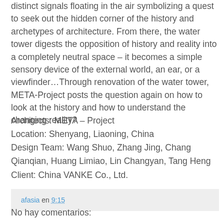distinct signals floating in the air symbolizing a quest to seek out the hidden corner of the history and archetypes of architecture. From there, the water tower digests the opposition of history and reality into a completely neutral space – it becomes a simple sensory device of the external world, an ear, or a viewfinder…Through renovation of the water tower, META-Project posts the question again on how to look at the history and how to understand the changing reality?
Architects: META – Project
Location: Shenyang, Liaoning, China
Design Team: Wang Shuo, Zhang Jing, Chang Qianqian, Huang Limiao, Lin Changyan, Tang Heng
Client: China VANKE Co., Ltd.
afasia en 9:15
No hay comentarios: